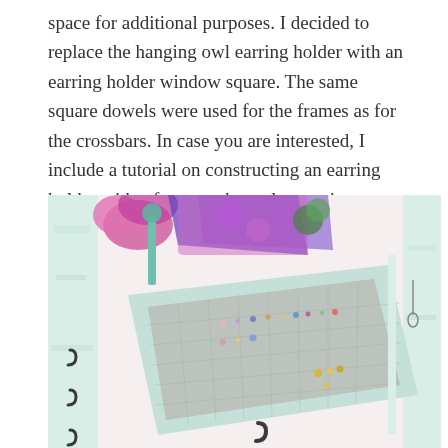space for additional purposes. I decided to replace the hanging owl earring holder with an earring holder window square. The same square dowels were used for the frames as for the crossbars. In case you are interested, I include a tutorial on constructing an earring holder with a frame and metal screening on my picture frame post.
[Figure (photo): Photo of a white painted wooden earring holder with a screen/mesh insert holding various small stud earrings. The holder is displayed at an angle showing hooks along the side. Colorful flowers and accessories are visible in the background.]